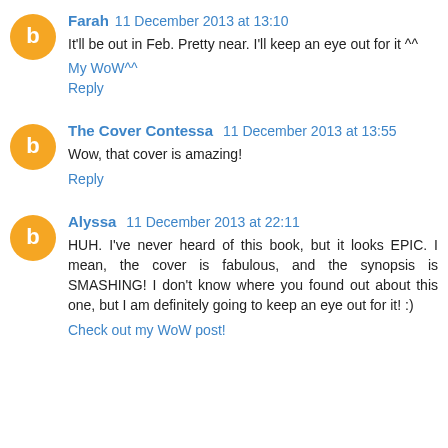Farah  11 December 2013 at 13:10
It'll be out in Feb. Pretty near. I'll keep an eye out for it ^^
My WoW^^
Reply
The Cover Contessa  11 December 2013 at 13:55
Wow, that cover is amazing!
Reply
Alyssa  11 December 2013 at 22:11
HUH. I've never heard of this book, but it looks EPIC. I mean, the cover is fabulous, and the synopsis is SMASHING! I don't know where you found out about this one, but I am definitely going to keep an eye out for it! :)
Check out my WoW post!